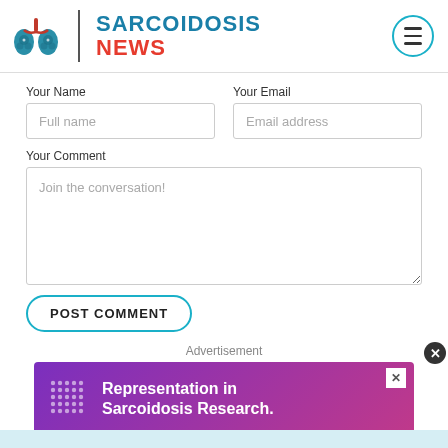[Figure (logo): Sarcoidosis News logo with lungs icon and brand name]
Your Name
Full name
Your Email
Email address
Your Comment
Join the conversation!
POST COMMENT
Advertisement
[Figure (infographic): Purple/pink gradient advertisement banner: Representation in Sarcoidosis Research.]